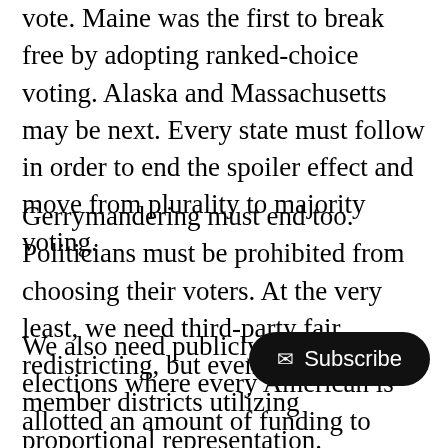vote. Maine was the first to break free by adopting ranked-choice voting. Alaska and Massachusetts may be next. Every state must follow in order to end the spoiler effect and move from plurality to majority voting.
Gerrymandering must end too. Politicians must be prohibited from choosing their voters. At the very least, we need third-party fair redistricting, but even better - multi-member districts utilizing proportional representation.
We also need publicly-financed elections where every American is allotted an amount of funding to donate to political campaigns… lobbyists are overpowered by the… People.